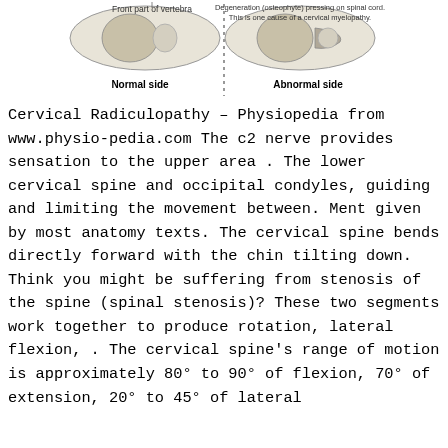[Figure (illustration): Medical diagram showing normal side vs abnormal side of vertebra cross-section. Left side labeled 'Front part of vertebra' (normal side), right side shows 'Degeneration (osteophyte) pressing on spinal cord. This is one cause of a cervical myelopathy.' (abnormal side). A dotted vertical line separates the two halves. Below the illustration are bold labels 'Normal side' and 'Abnormal side'.]
Front part of vertebra
Degeneration (osteophyte) pressing on spinal cord. This is one cause of a cervical myelopathy.
Normal side
Abnormal side
Cervical Radiculopathy – Physiopedia from www.physio-pedia.com
The c2 nerve provides sensation to the upper area . The lower cervical spine and occipital condyles, guiding and limiting the movement between. Ment given by most anatomy texts. The cervical spine bends directly forward with the chin tilting down. Think you might be suffering from stenosis of the spine (spinal stenosis)? These two segments work together to produce rotation, lateral flexion, . The cervical spine's range of motion is approximately 80° to 90° of flexion, 70° of extension, 20° to 45° of lateral